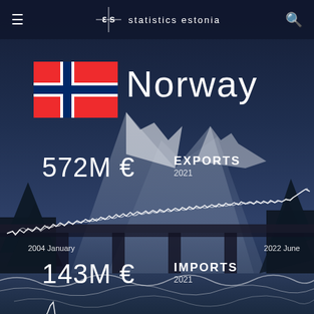Statistics Estonia
[Figure (illustration): Norwegian flag icon — red background with blue and white Nordic cross]
Norway
572M € EXPORTS 2021
[Figure (line-chart): White line chart showing Estonia exports to Norway from 2004 January to 2022 June, with a sharp spike at the end]
2004 January
2022 June
143M € IMPORTS 2021
[Figure (line-chart): White line chart showing Estonia imports from Norway, partially visible at bottom of page]